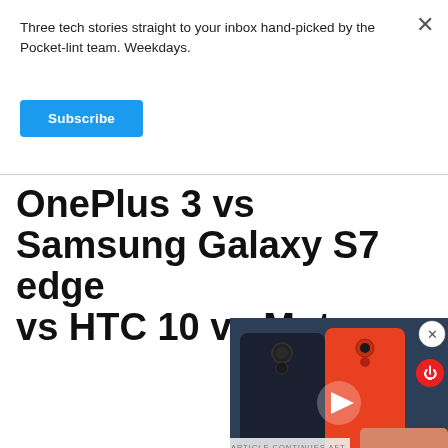Three tech stories straight to your inbox hand-picked by the Pocket-lint team. Weekdays.
[Figure (other): Blue Subscribe button]
OnePlus 3 vs Samsung Galaxy S7 edge vs HTC 10 vs Moto
[Figure (screenshot): Video player overlay showing two smartphones (dark and red/orange colored), with a play button in the center and a close (X) button in the top right corner, and a power icon logo in the top right.]
ARTICLE CONTINUES AFTER ADVERTISEMENT